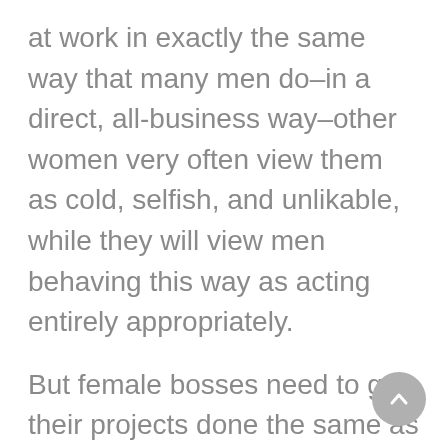at work in exactly the same way that many men do–in a direct, all-business way–other women very often view them as cold, selfish, and unlikable, while they will view men behaving this way as acting entirely appropriately.

But female bosses need to get their projects done the same as male bosses do, and that often means that women do not have